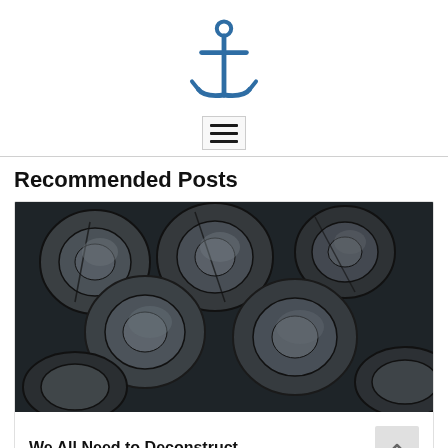[Figure (logo): Blue anchor icon centered at top of page]
[Figure (other): Hamburger menu button with three horizontal lines]
Recommended Posts
[Figure (photo): Close-up photograph of stacked cut firewood logs, dark grey and black tones]
We All Need to Deconstruct